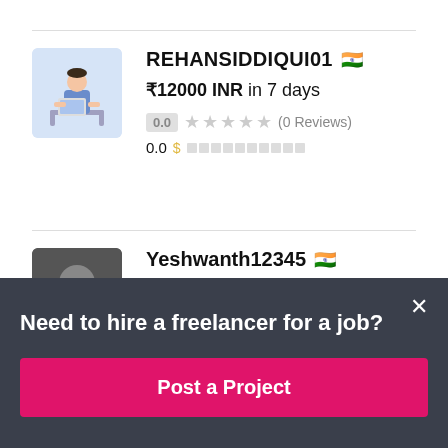[Figure (screenshot): Freelancer profile card for REHANSIDDIQUI01 with Indian flag, bid of ₹12000 INR in 7 days, 0.0 rating with 0 Reviews]
REHANSIDDIQUI01 🇮🇳
₹12000 INR in 7 days
0.0 ★★★★★ (0 Reviews)
0.0
Yeshwanth12345 🇮🇳
Need to hire a freelancer for a job?
Post a Project